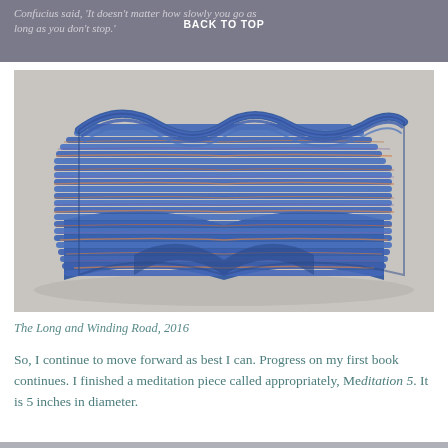Confucius said, 'It doesn't matter how slowly you go as long as you don't stop.'
BACK TO TOP
[Figure (photo): A blue woven basket sculpture with a wavy, undulating form, made from coiled textile material with hints of orange and purple threads running through the blue coils. The piece sits on a light grey background.]
The Long and Winding Road, 2016
So, I continue to move forward as best I can.  Progress on my first book continues.  I finished a meditation piece called appropriately, Meditation 5.  It is 5 inches in diameter.